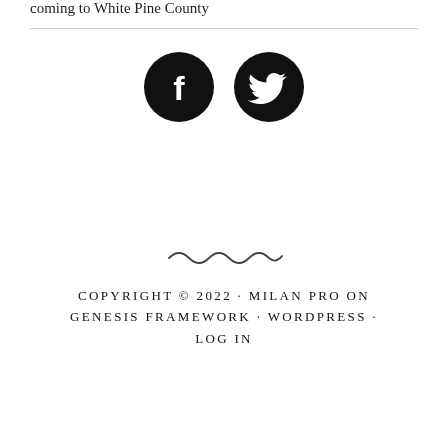coming to White Pine County
[Figure (logo): Facebook and Twitter social media icons — two black circles with white 'f' and bird logos respectively]
[Figure (illustration): Decorative squiggly/wavy line divider]
COPYRIGHT © 2022 · MILAN PRO ON GENESIS FRAMEWORK · WORDPRESS · LOG IN